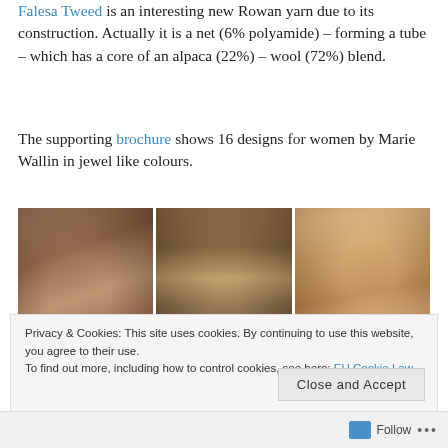Falesa Tweed is an interesting new Rowan yarn due to its construction. Actually it is a net (6% polyamide) – forming a tube – which has a core of an alpaca (22%) – wool (72%) blend.
The supporting brochure shows 16 designs for women by Marie Wallin in jewel like colours.
[Figure (photo): Three photographs side by side showing women wearing knitwear: left photo shows a woman wearing a pink/mauve knitted beret with long dark hair; middle photo shows a woman in a room with paintings on the wall; right photo shows a woman wearing a light pink/peach knitted shawl in front of orange circular wall decorations.]
Privacy & Cookies: This site uses cookies. By continuing to use this website, you agree to their use. To find out more, including how to control cookies, see here: EU Cookie Law
Follow ...